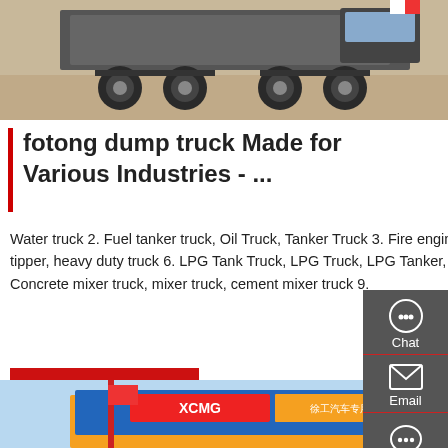[Figure (photo): Bottom view of a heavy duty truck/dump truck showing rear axles and wheels, parked on a dirt/sandy surface]
fotong dump truck Made for Various Industries - ...
Water truck 2. Fuel tanker truck, Oil Truck, Tanker Truck 3. Fire engine truck 4. Truck mounted crane, crane truck 5. Dump truck, tipper, heavy duty truck 6. LPG Tank Truck, LPG Truck, LPG Tanker, LPG Semi-trailer, LPG Storage Tanker 7. Bulk cement truck 8. Concrete mixer truck, mixer truck, cement mixer truck 9.
Get a Quote
[Figure (photo): Street view of a commercial building with XCMG signage and Chinese text, showing colorful banners and storefronts]